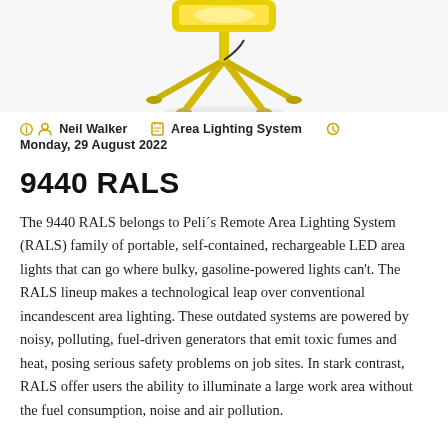[Figure (photo): Yellow Peli 9440 RALS portable area lighting system on stand, photographed from above on white background, partially cropped at top of page]
Neil Walker   Area Lighting System   Monday, 29 August 2022
9440 RALS
The 9440 RALS belongs to Peli´s Remote Area Lighting System (RALS) family of portable, self-contained, rechargeable LED area lights that can go where bulky, gasoline-powered lights can't. The RALS lineup makes a technological leap over conventional incandescent area lighting. These outdated systems are powered by noisy, polluting, fuel-driven generators that emit toxic fumes and heat, posing serious safety problems on job sites. In stark contrast, RALS offer users the ability to illuminate a large work area without the fuel consumption, noise and air pollution.